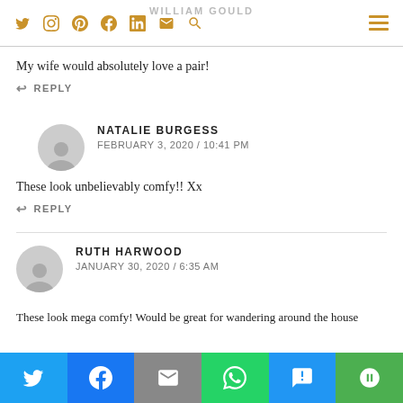WILLIAM GOULD
My wife would absolutely love a pair!
REPLY
NATALIE BURGESS
FEBRUARY 3, 2020 / 10:41 PM
These look unbelievably comfy!! Xx
REPLY
RUTH HARWOOD
JANUARY 30, 2020 / 6:35 AM
These look mega comfy! Would be great for wandering around the house
Twitter | Facebook | Email | WhatsApp | SMS | More